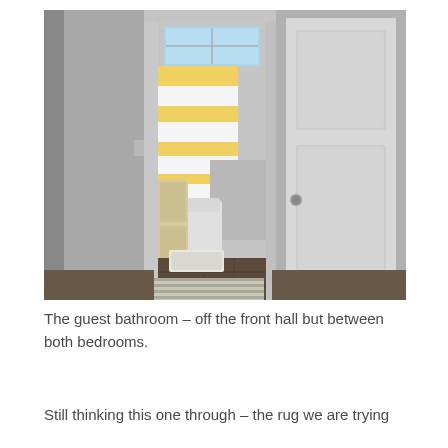[Figure (photo): Interior photo of a guest bathroom viewed through an open doorway. The bathroom has a yellow and white striped shower curtain, a toilet, a white vanity cabinet, dark wood flooring, a white bath mat, and a striped rug placed outside the doorway on the hallway floor. To the right of the bathroom doorway is a white two-panel interior door. The walls are gray.]
The guest bathroom – off the front hall but between both bedrooms.
Still thinking this one through – the rug we are trying